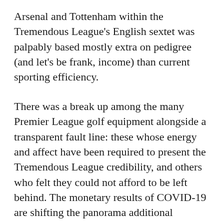Arsenal and Tottenham within the Tremendous League's English sextet was palpably based mostly extra on pedigree (and let's be frank, income) than current sporting efficiency.
There was a break up among the many Premier League golf equipment alongside a transparent fault line: these whose energy and affect have been required to present the Tremendous League credibility, and others who felt they could not afford to be left behind. The monetary results of COVID-19 are shifting the panorama additional nonetheless, as sure golf equipment exploit the vulnerabilities of others to strengthen their place.
So, is it time to redefine or abandon the idea of a “Massive Six” fully?